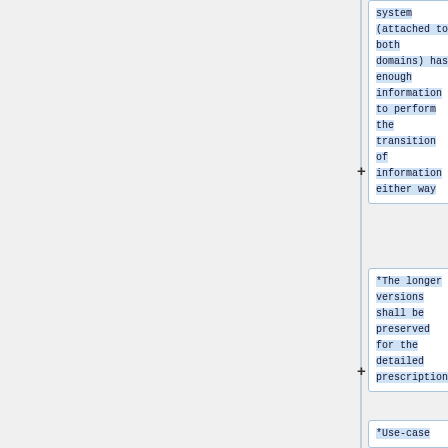system (attached to both domains) has enough information to perform the transition of information either way
*The longer versions shall be preserved for the detailed prescription
*Use-case